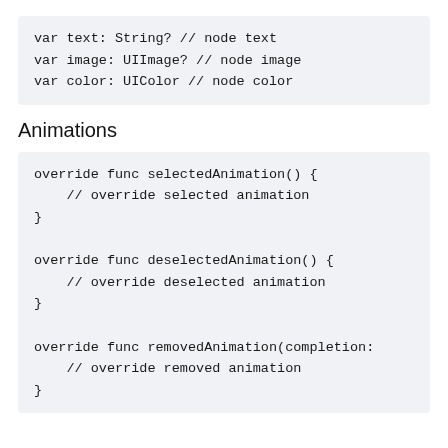var text: String? // node text
var image: UIImage? // node image
var color: UIColor // node color
Animations
override func selectedAnimation() {
    // override selected animation
}
override func deselectedAnimation() {
    // override deselected animation
}
override func removedAnimation(completion:
    // override removed animation
}